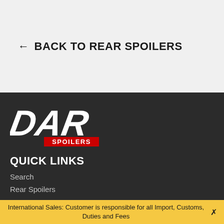← BACK TO REAR SPOILERS
[Figure (logo): DAR Spoilers logo — bold white italic letters 'DAR' with a red rectangle containing white text 'SPOILERS' below, on dark background]
QUICK LINKS
Search
Rear Spoilers
International Sales: Customer is responsible for all Import, Customs, Duties and Fees